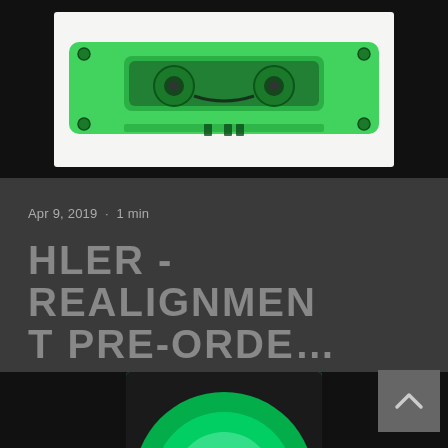[Figure (photo): Green transparent cassette tape on white background, viewed from above]
Apr 9, 2019  ·  1 min
HLER - REALIGNMENT PRE-ORDE…
A very limited cassette edition of the upcoming HLER album Realignment is now available f…
[Figure (photo): Green vinyl/cassette record with play button overlay, partial view at bottom]